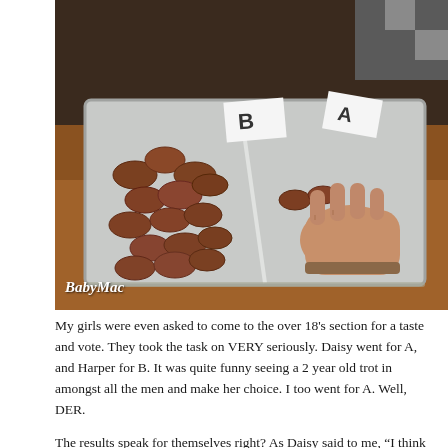[Figure (photo): Photo of a metal baking tray on a wooden table divided into two sections (labeled A and B) containing pieces of cooked sausage. A hand is reaching toward the A section. The photo has a 'BabyMac' watermark in the lower left corner.]
My girls were even asked to come to the over 18's section for a taste and vote. They took the task on VERY seriously. Daisy went for A, and Harper for B. It was quite funny seeing a 2 year old trot in amongst all the men and make her choice. I too went for A. Well, DER.
The results speak for themselves right? As Daisy said to me, "I think B stands for BOUGHT Mum, and A stands for EXCELLENT". I tend to agree with her. Ed almost fell over